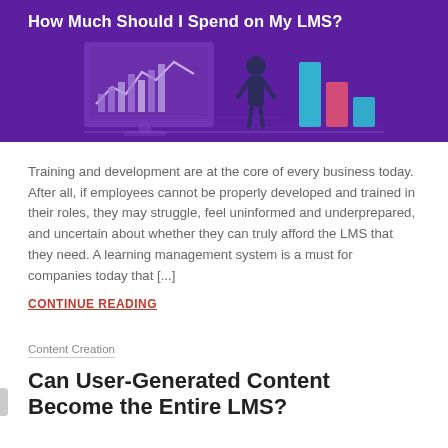[Figure (illustration): Purple banner with title 'How Much Should I Spend on My LMS?' and an isometric illustration showing a person standing near bar charts and a analytics screen in purple tones.]
Training and development are at the core of every business today. After all, if employees cannot be properly developed and trained in their roles, they may struggle, feel uninformed and underprepared, and uncertain about whether they can truly afford the LMS that they need. A learning management system is a must for companies today that [...]
CONTINUE READING
Content Creation
Can User-Generated Content Become the Entire LMS?